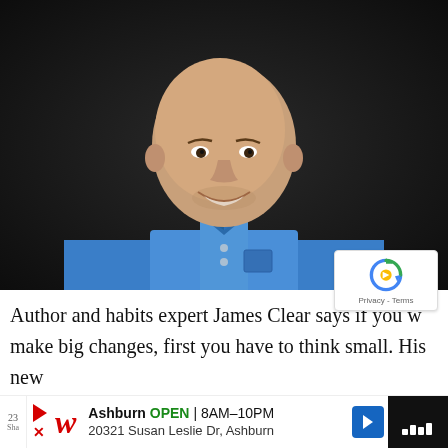[Figure (photo): Portrait photo of a bald man smiling, wearing a blue denim button-up shirt, against a dark background. This is author James Clear.]
Author and habits expert James Clear says if you want to make big changes, first you have to think small. His new book, “Atomic Habits,” zeroes in on the idea that small
[Figure (other): reCAPTCHA badge with logo and Privacy - Terms text]
[Figure (other): Advertisement bar: Walgreens logo, Ashburn OPEN 8AM-10PM, 20321 Susan Leslie Dr, Ashburn, navigation arrow, dark video thumbnail]